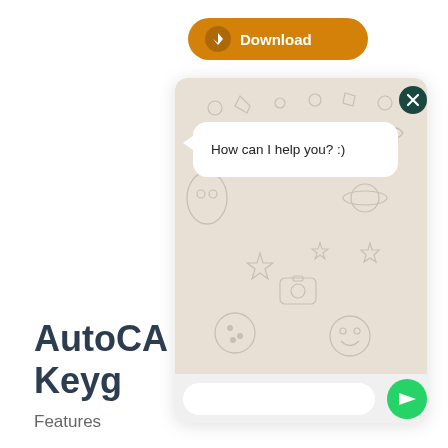[Figure (screenshot): Orange Download button with arrow icon and white text 'Download']
[Figure (screenshot): WhatsApp-style chat window with patterned beige background, close button, chat bubble saying 'How can I help you? :)', and a text input area with green send button]
AutoCA... Keyg...
Features